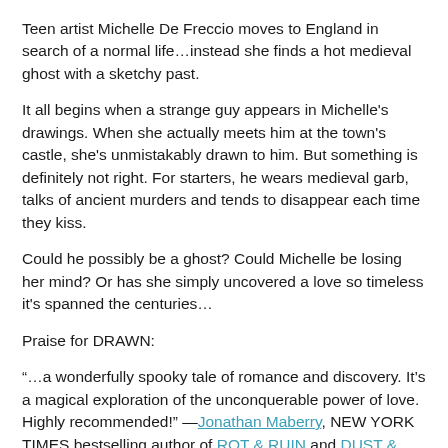Teen artist Michelle De Freccio moves to England in search of a normal life…instead she finds a hot medieval ghost with a sketchy past.
It all begins when a strange guy appears in Michelle's drawings. When she actually meets him at the town's castle, she's unmistakably drawn to him. But something is definitely not right. For starters, he wears medieval garb, talks of ancient murders and tends to disappear each time they kiss.
Could he possibly be a ghost? Could Michelle be losing her mind? Or has she simply uncovered a love so timeless it's spanned the centuries…
Praise for DRAWN:
“…a wonderfully spooky tale of romance and discovery. It’s a magical exploration of the unconquerable power of love.  Highly recommended!” —Jonathan Maberry, NEW YORK TIMES bestselling author of ROT & RUIN and DUST & DECAY